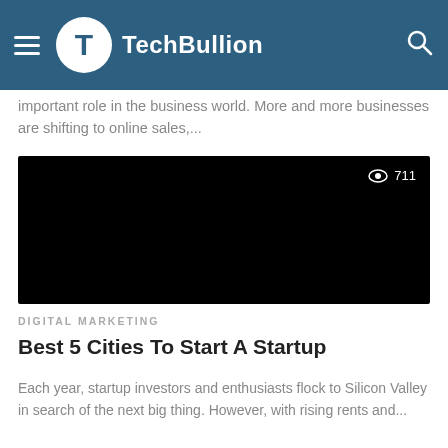TechBullion
important role in the business world. More and more businesses are shifting to online sales,...
[Figure (photo): Black image thumbnail with view count 711 in top right corner]
DIGITAL MARKETING
Best 5 Cities To Start A Startup
Each year, startup investors and enthusiasts flock to Silicon Valley in search of the next big thing. However, with rising rents and...